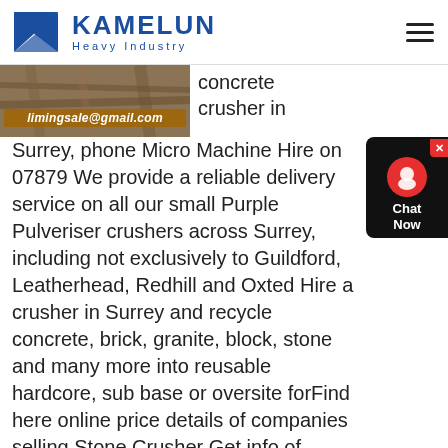KAMELUN Heavy Industry
[Figure (photo): Construction/industrial image with email overlay: limingsale@gmail.com]
concrete crusher in Surrey, phone Micro Machine Hire on 07879 We provide a reliable delivery service on all our small Purple Pulveriser crushers across Surrey, including not exclusively to Guildford, Leatherhead, Redhill and Oxted Hire a crusher in Surrey and recycle concrete, brick, granite, block, stone and many more into reusable hardcore, sub base or oversite forFind here online price details of companies selling Stone Crusher Get info of suppliers, manufacturers, exporters, traders of Stone Crusher for buying in IndiaStone Crusher at Best Price in India
[Figure (photo): Used crushers image showing machinery/equipment]
Used crushers